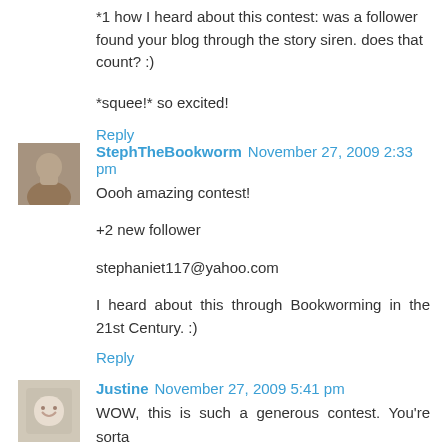*1 how I heard about this contest: was a follower found your blog through the story siren. does that count? :)
*squee!* so excited!
Reply
StephTheBookworm November 27, 2009 2:33 pm
Oooh amazing contest!
+2 new follower
stephaniet117@yahoo.com
I heard about this through Bookworming in the 21st Century. :)
Reply
Justine November 27, 2009 5:41 pm
WOW, this is such a generous contest. You're sorta